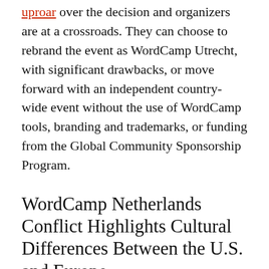uproar over the decision and organizers are at a crossroads. They can choose to rebrand the event as WordCamp Utrecht, with significant drawbacks, or move forward with an independent country-wide event without the use of WordCamp tools, branding and trademarks, or funding from the Global Community Sponsorship Program.
WordCamp Netherlands Conflict Highlights Cultural Differences Between the U.S. and Europe
Marcel Bootsman, who heads up the 13-person WordCamp Netherlands organization team, said they have been working since late December 2016 on the upcoming event. The team had added eight